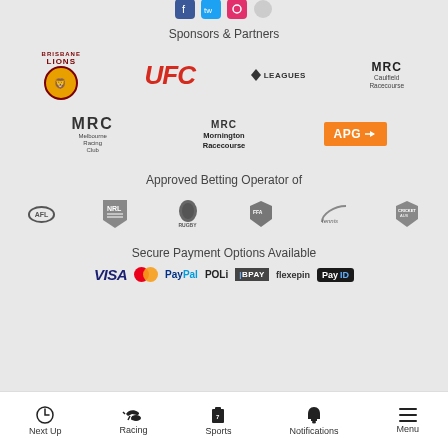[Figure (logo): Social media icons row: Facebook, Twitter, Instagram, and another icon at top]
Sponsors & Partners
[Figure (logo): Sponsors logos: Brisbane Lions, UFC, Leagues, MRC Caulfield Racecourse, MRC Melbourne Racing Club, MRC Mornington Racecourse, APG]
Approved Betting Operator of
[Figure (logo): Approved operator logos: AFL, NRL, Rugby, Football Federation Australia, Tennis Australia, Cricket Australia]
Secure Payment Options Available
[Figure (logo): Payment logos: VISA, Mastercard, PayPal, POLi, BPAY, flexepin, PayID]
Next Up  Racing  Sports  Notifications  Menu